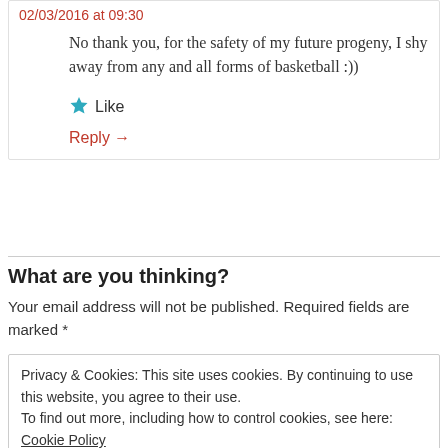02/03/2016 at 09:30
No thank you, for the safety of my future progeny, I shy away from any and all forms of basketball :))
★ Like
Reply →
What are you thinking?
Your email address will not be published. Required fields are marked *
Privacy & Cookies: This site uses cookies. By continuing to use this website, you agree to their use.
To find out more, including how to control cookies, see here: Cookie Policy
Close and accept